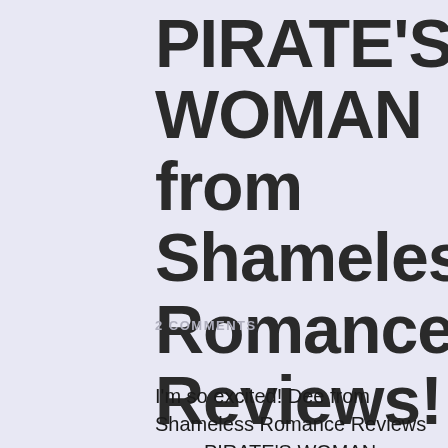PIRATE'S WOMAN from Shameless Romance Reviews!
2 COMMENTS
I'm so excited! Dee from Shameless Romance Reviews gave PIRATE'S WOMAN my hot new sci-fi erotic